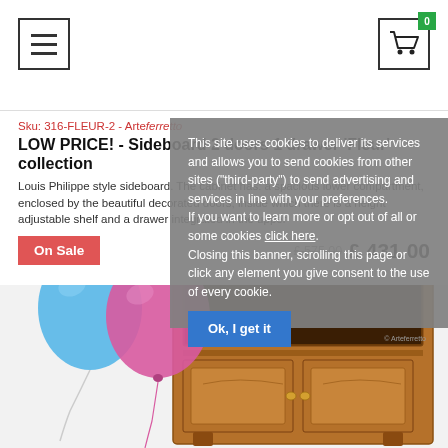[Figure (screenshot): Website header with hamburger menu icon on left and shopping cart icon with green badge showing 0 on right]
Sku: 316-FLEUR-2 - Arterferretto
LOW PRICE! - Sideboard 2 doors 1 drawer 'Fleur' collection
Louis Philippe style sideboard. The cabinet has: a spacious lower compartment, enclosed by the beautiful decorated doors, inside which there is a height adjustable shelf and a drawer integrated in the upper
On Sale
£ 575.00  £ 431.00
This site uses cookies to deliver its services and allows you to send cookies from other sites ("third-party") to send advertising and services in line with your preferences. If you want to learn more or opt out of all or some cookies click here. Closing this banner, scrolling this page or click any element you give consent to the use of every cookie.
Ok, I get it
[Figure (photo): Two balloons (blue and pink/magenta) with strings, and a wooden sideboard cabinet with an open lower compartment and drawer, watermarked with Arteferretto logo]